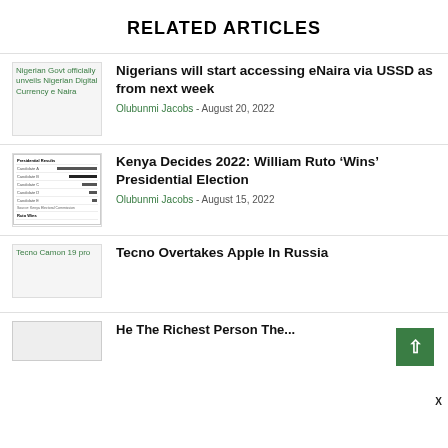RELATED ARTICLES
Nigerians will start accessing eNaira via USSD as from next week — Olubunmi Jacobs - August 20, 2022
Kenya Decides 2022: William Ruto ‘Wins’ Presidential Election — Olubunmi Jacobs - August 15, 2022
Tecno Overtakes Apple In Russia
He The Richest Person The...